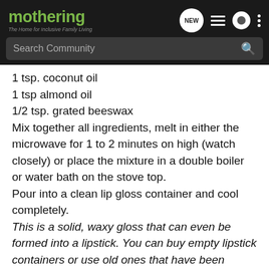[Figure (screenshot): Mothering website navigation bar with logo, search bar, and icons]
1 tsp. coconut oil
1 tsp almond oil
1/2 tsp. grated beeswax
Mix together all ingredients, melt in either the microwave for 1 to 2 minutes on high (watch closely) or place the mixture in a double boiler or water bath on the stove top.
Pour into a clean lip gloss container and cool completely.
This is a solid, waxy gloss that can even be formed into a lipstick. You can buy empty lipstick containers or use old ones that have been cleaned out. Pour the mixture into these containers and allow to cool completely.
Beeswax Lipsticks
1/4 cup grated beeswax
3 Tbs. vegetable shortning
2 Tbs. cocoa butter